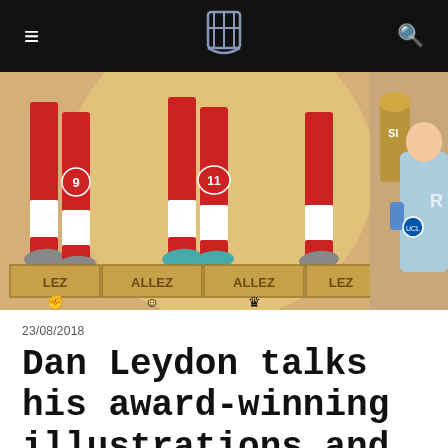≡  [logo]  🔍
[Figure (illustration): Illustrated artwork showing football/soccer players in red kits with jersey numbers 9 and 11, styled in an ancient Egyptian frieze motif with 'ALLEZ' text on wooden blocks below. On the right side, a footballer in light blue kit holds a microphone near a trophy.]
23/08/2018
Dan Leydon talks his award-winning illustrations and